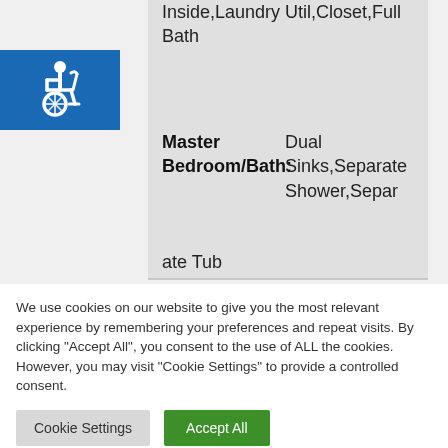Inside,Laundry Util,Closet,Full Bath
[Figure (illustration): Blue accessibility/wheelchair icon badge]
| Master Bedroom/Bath: | Dual Sinks,Separate Shower,Separate Tub |
We use cookies on our website to give you the most relevant experience by remembering your preferences and repeat visits. By clicking “Accept All”, you consent to the use of ALL the cookies. However, you may visit “Cookie Settings” to provide a controlled consent.
Cookie Settings   Accept All